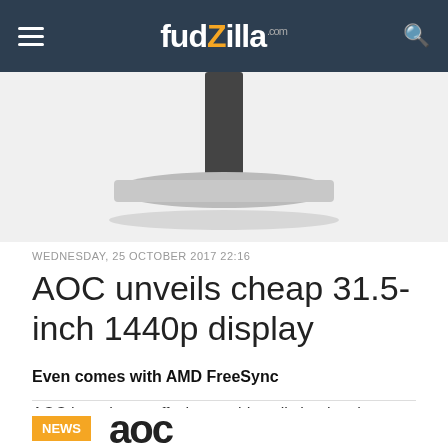fudzilla.com
[Figure (photo): Bottom portion of a monitor stand showing the silver base and black column against a light grey/white background]
WEDNESDAY, 25 OCTOBER 2017 22:16
AOC unveils cheap 31.5-inch 1440p display
Even comes with AMD FreeSync
AOC has shown off what could easily be the cheapest large display with 1440p resolution and AMD FreeSync support, the Q3279VWF.
[Figure (photo): Partial view of AOC logo in black letters and what appears to be another image to the right, partially cut off at the bottom of the page]
NEWS